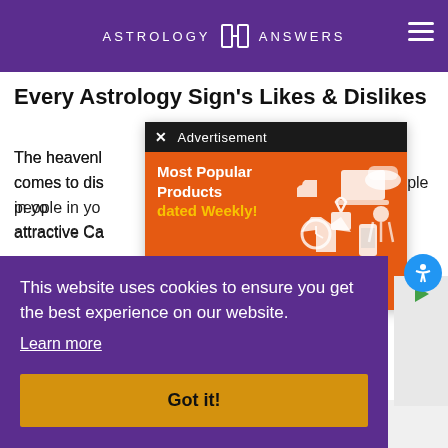ASTROLOGY ANSWERS
Every Astrology Sign's Likes & Dislikes
The heavenly bodies can often reveal a great deal when it comes to distinguishing the likes and dislikes of the people in your life. For example, you might notice with the attractive Ca…
[Figure (screenshot): Advertisement popup with dark top bar showing close X button and 'Advertisement' text, over an orange panel showing 'Most Popular Products updated Weekly!' with shopping/product icons]
This website uses cookies to ensure you get the best experience on our website.
Learn more
Got it!